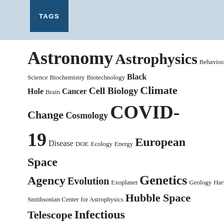TAGS
Astronomy Astrophysics Behavioral Science Biochemistry Biotechnology Black Hole Brain Cancer Cell Biology Climate Change Cosmology COVID-19 Disease DOE Ecology Energy European Space Agency Evolution Exoplanet Genetics Geology Harvard-Smithsonian Center for Astrophysics Hubble Space Telescope Infectious Diseases JPL Mars Materials Science Max Planck Institute Medicine MIT Nanotechnology NASA NASA Goddard Space Flight Center Neuroscience Nutrition Paleontology Particle Physics Planetary Science Planets Popular Public Health Quantum Physics Housing Virology Yale University